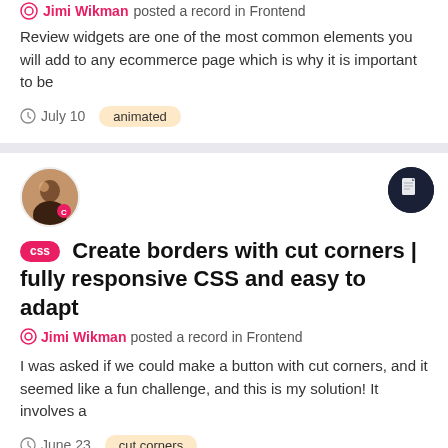Jimi Wikman posted a record in Frontend
Review widgets are one of the most common elements you will add to any ecommerce page which is why it is important to be
July 10   animated
[Figure (photo): Circular avatar photo of Jimi Wikman]
[Figure (illustration): Dark circular document icon button]
CSS  Create borders with cut corners | fully responsive CSS and easy to adapt
Jimi Wikman posted a record in Frontend
I was asked if we could make a button with cut corners, and it seemed like a fun challenge, and this is my solution! It involves a
June 23   cut corners
[Figure (photo): Circular avatar photo of Jimi Wikman (partial, bottom)]
[Figure (illustration): Dark circular document icon button (partial, bottom)]